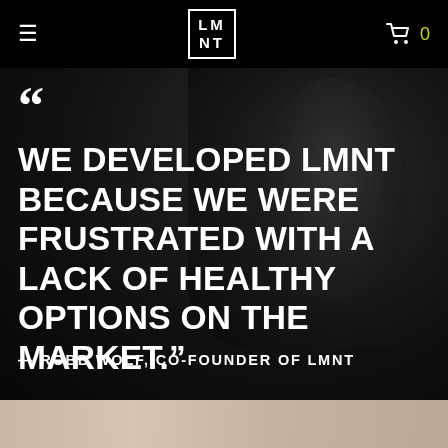≡  LM NT  🛒 0
[Figure (photo): Dark moody close-up photo of a person's face in profile, black and white / desaturated tones, serving as background for a quote overlay]
““
WE DEVELOPED LMNT BECAUSE WE WERE FRUSTRATED WITH A LACK OF HEALTHY OPTIONS ON THE MARKET.”
— ROBB WOLF, CO-FOUNDER OF LMNT